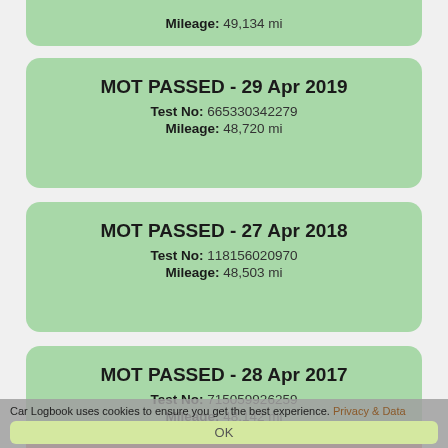Mileage: 49,134 mi
MOT PASSED - 29 Apr 2019
Test No: 665330342279
Mileage: 48,720 mi
MOT PASSED - 27 Apr 2018
Test No: 118156020970
Mileage: 48,503 mi
MOT PASSED - 28 Apr 2017
Test No: 715059926259
Mileage: 48,142 mi
Car Logbook uses cookies to ensure you get the best experience. Privacy & Data